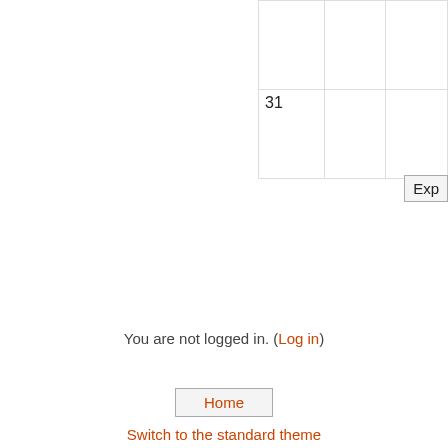|  |  |  |
| 31 |  |  |
Exp
You are not logged in. (Log in)
Home
Switch to the standard theme